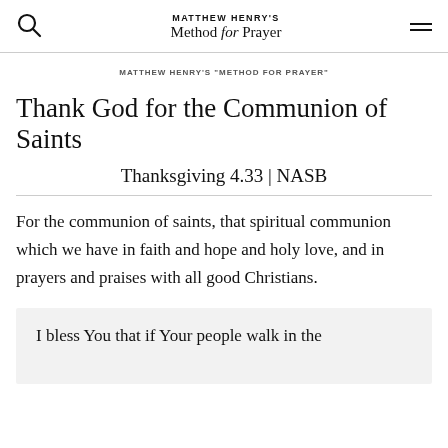MATTHEW HENRY'S Method for Prayer
MATTHEW HENRY'S "METHOD FOR PRAYER"
Thank God for the Communion of Saints
Thanksgiving 4.33 | NASB
For the communion of saints, that spiritual communion which we have in faith and hope and holy love, and in prayers and praises with all good Christians.
I bless You that if Your people walk in the